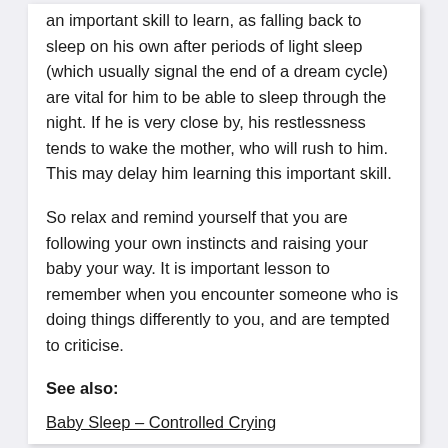an important skill to learn, as falling back to sleep on his own after periods of light sleep (which usually signal the end of a dream cycle) are vital for him to be able to sleep through the night. If he is very close by, his restlessness tends to wake the mother, who will rush to him. This may delay him learning this important skill.
So relax and remind yourself that you are following your own instincts and raising your baby your way. It is important lesson to remember when you encounter someone who is doing things differently to you, and are tempted to criticise.
See also:
Baby Sleep – Controlled Crying